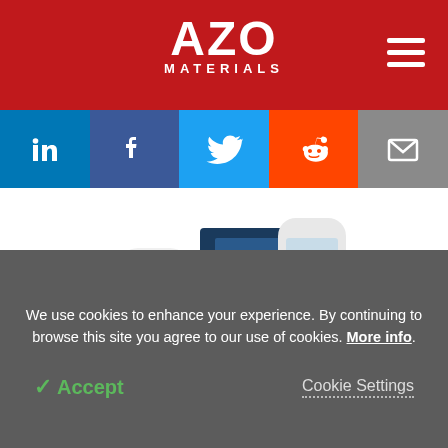[Figure (logo): AZO Materials logo on red background with hamburger menu icon]
[Figure (infographic): Social media icons bar: LinkedIn, Facebook, Twitter, Reddit, Email]
[Figure (photo): Claisse Fusion Monitor product photo showing bottles labeled FUSION and a black/yellow device]
Claisse Fusion Monitor
We use cookies to enhance your experience. By continuing to browse this site you agree to our use of cookies. More info.
✓ Accept
Cookie Settings